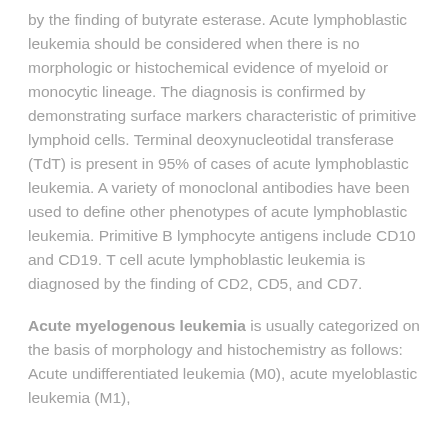by the finding of butyrate esterase. Acute lymphoblastic leukemia should be considered when there is no morphologic or histochemical evidence of myeloid or monocytic lineage. The diagnosis is confirmed by demonstrating surface markers characteristic of primitive lymphoid cells. Terminal deoxynucleotidal transferase (TdT) is present in 95% of cases of acute lymphoblastic leukemia. A variety of monoclonal antibodies have been used to define other phenotypes of acute lymphoblastic leukemia. Primitive B lymphocyte antigens include CD10 and CD19. T cell acute lymphoblastic leukemia is diagnosed by the finding of CD2, CD5, and CD7.
Acute myelogenous leukemia is usually categorized on the basis of morphology and histochemistry as follows: Acute undifferentiated leukemia (M0), acute myeloblastic leukemia (M1), acute myeloblastic leukemia with differentiation